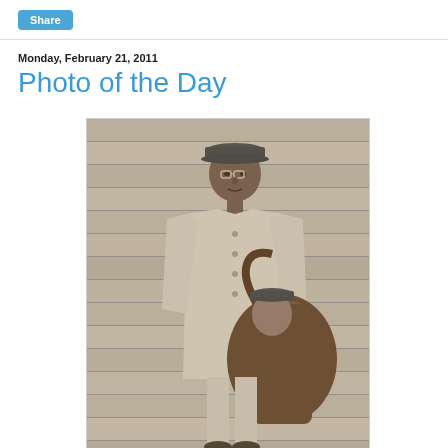Share
Monday, February 21, 2011
Photo of the Day
[Figure (photo): Black and white historical photograph of a man in a postal uniform and cap, wearing glasses, standing in front of a wooden slat wall. He is holding a mail bag with a small child or figure visible behind the bag.]